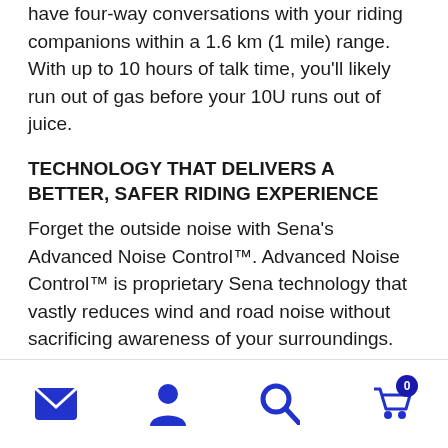have four-way conversations with your riding companions within a 1.6 km (1 mile) range. With up to 10 hours of talk time, you'll likely run out of gas before your 10U runs out of juice.
TECHNOLOGY THAT DELIVERS A BETTER, SAFER RIDING EXPERIENCE
Forget the outside noise with Sena's Advanced Noise Control™. Advanced Noise Control™ is proprietary Sena technology that vastly reduces wind and road noise without sacrificing awareness of your surroundings. The stacked features make the 10U one of the best helmet
Navigation icons: email, user, search, cart (0)